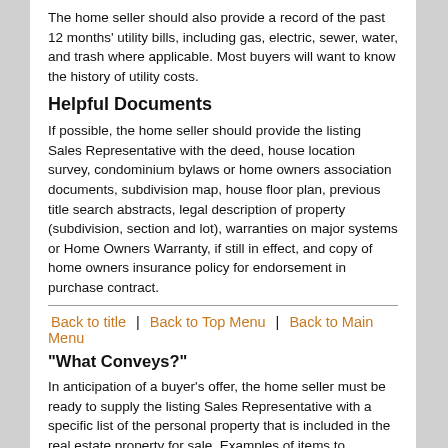The home seller should also provide a record of the past 12 months' utility bills, including gas, electric, sewer, water, and trash where applicable. Most buyers will want to know the history of utility costs.
Helpful Documents
If possible, the home seller should provide the listing Sales Representative with the deed, house location survey, condominium bylaws or home owners association documents, subdivision map, house floor plan, previous title search abstracts, legal description of property (subdivision, section and lot), warranties on major systems or Home Owners Warranty, if still in effect, and copy of home owners insurance policy for endorsement in purchase contract.
Back to title | Back to Top Menu | Back to Main Menu
"What Conveys?"
In anticipation of a buyer's offer, the home seller must be ready to supply the listing Sales Representative with a specific list of the personal property that is included in the real estate property for sale. Examples of items to "convey" may include: draperies, drapery rods, remaining heating oil, firewood, washer, dryer, refrigerator, stove, microwave, disposal, swimming pool chemicals,